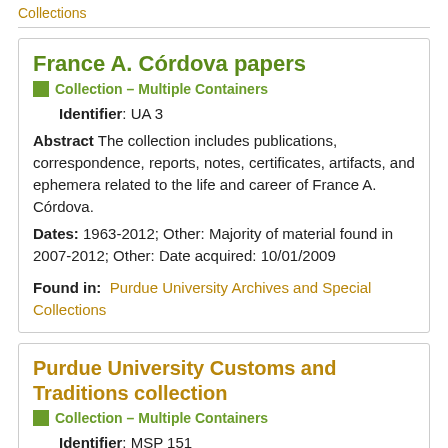Collections
France A. Córdova papers
Collection – Multiple Containers
Identifier: UA 3
Abstract The collection includes publications, correspondence, reports, notes, certificates, artifacts, and ephemera related to the life and career of France A. Córdova.
Dates: 1963-2012; Other: Majority of material found in 2007-2012; Other: Date acquired: 10/01/2009
Found in: Purdue University Archives and Special Collections
Purdue University Customs and Traditions collection
Collection – Multiple Containers
Identifier: MSP 151
Scope and Contents The Purdue University Customs